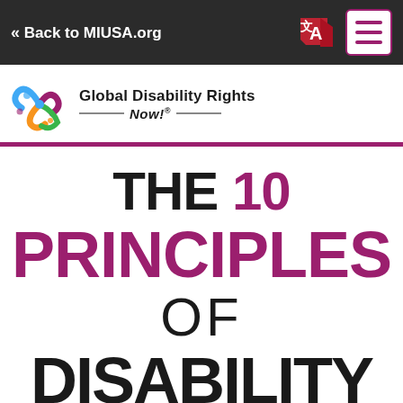« Back to MIUSA.org
[Figure (logo): Global Disability Rights Now! logo with colorful swirl icon]
THE 10 PRINCIPLES OF DISABILITY